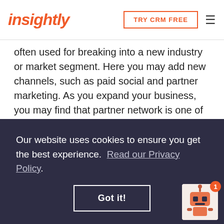insightly | TRY CRM FREE
often used for breaking into a new industry or market segment. Here you may add new channels, such as paid social and partner marketing. As you expand your business, you may find that partner network is one of the most effective ways to reach new customer segments, build trust, and establish relationships.
Whether you’re just starting out with your marketing campaigns or are a total pro looking for better marketing automation solutions and sales and
Our website uses cookies to ensure you get the best experience.  Read our Privacy Policy
Got it!